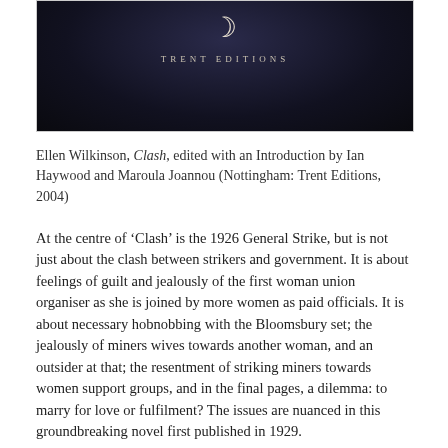[Figure (illustration): Book cover for Trent Editions with dark background, crescent moon symbol, and text 'TRENT EDITIONS']
Ellen Wilkinson, Clash, edited with an Introduction by Ian Haywood and Maroula Joannou (Nottingham: Trent Editions, 2004)
At the centre of 'Clash' is the 1926 General Strike, but is not just about the clash between strikers and government. It is about feelings of guilt and jealously of the first woman union organiser as she is joined by more women as paid officials. It is about necessary hobnobbing with the Bloomsbury set; the jealously of miners wives towards another woman, and an outsider at that; the resentment of striking miners towards women support groups, and in the final pages, a dilemma: to marry for love or fulfilment? The issues are nuanced in this groundbreaking novel first published in 1929.